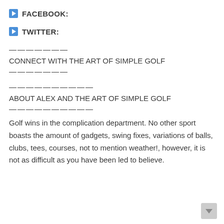▶ FACEBOOK:
▶ TWITTER:
———————
CONNECT WITH THE ART OF SIMPLE GOLF
———————
——————————
ABOUT ALEX AND THE ART OF SIMPLE GOLF
——————————
Golf wins in the complication department. No other sport boasts the amount of gadgets, swing fixes, variations of balls, clubs, tees, courses, not to mention weather!, however, it is not as difficult as you have been led to believe.